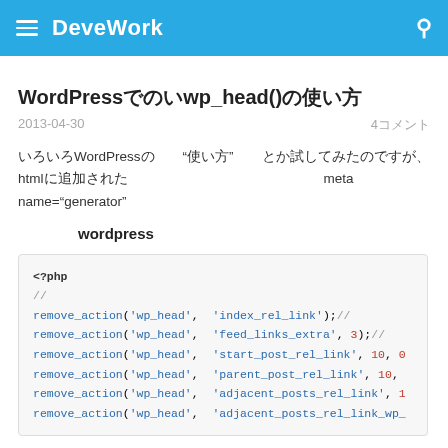DeveWork
WordPressでのwp_head()の使い方
2013-04-30 | 4コメント
色々WordPressの「使い方」とか試してみたのですが、htmlに追加されたmeta name="generator"の削除って、自分のサービスやサイトのWordPressバージョンを隠すことができるので、セキュリティ的によさそうと思いました。
関数でwordpressの設定をする
<?php
//コメントや解説
remove_action('wp_head', 'index_rel_link');//コメント
remove_action('wp_head', 'feed_links_extra', 3);// コ
remove_action('wp_head', 'start_post_rel_link', 10, 0
remove_action('wp_head', 'parent_post_rel_link', 10,
remove_action('wp_head', 'adjacent_posts_rel_link', 1
remove_action('wp_head', 'adjacent_posts_rel_link_wp_